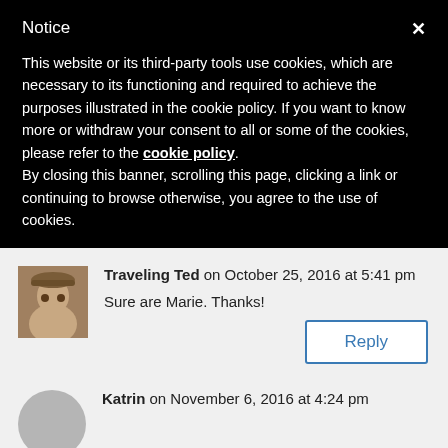Notice
This website or its third-party tools use cookies, which are necessary to its functioning and required to achieve the purposes illustrated in the cookie policy. If you want to know more or withdraw your consent to all or some of the cookies, please refer to the cookie policy.
By closing this banner, scrolling this page, clicking a link or continuing to browse otherwise, you agree to the use of cookies.
[Figure (photo): Avatar photo of Traveling Ted, a person wearing a hat outdoors]
Traveling Ted on October 25, 2016 at 5:41 pm
Sure are Marie. Thanks!
[Figure (illustration): Generic grey circle avatar placeholder for user Katrin]
Katrin on November 6, 2016 at 4:24 pm